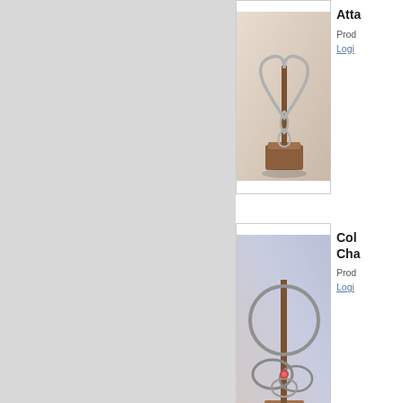[Figure (photo): Wire puzzle on wooden base (heart/loop design), product listing image]
Atta
Prod
Logi
[Figure (photo): Wire puzzle with rings on wooden base (Col Cha design), product listing image]
Col Cha
Prod
Logi
[Figure (photo): Wire puzzle with rings on wooden base (Col Shu design), product listing image]
Col Shu
Prod
Logi